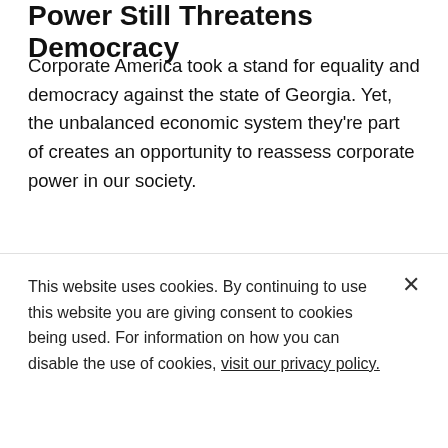Power Still Threatens Democracy
Corporate America took a stand for equality and democracy against the state of Georgia. Yet, the unbalanced economic system they're part of creates an opportunity to reassess corporate power in our society.
BLOG — APRIL 29, 2021 — By AMY TRAUB
Supreme Court Case Reveals How
This website uses cookies. By continuing to use this website you are giving consent to cookies being used. For information on how you can disable the use of cookies, visit our privacy policy.